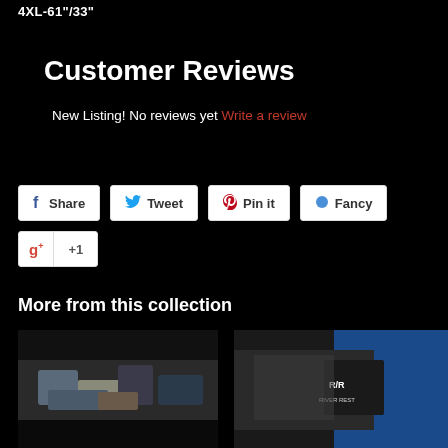4XL-61"/33"
Customer Reviews
New Listing! No reviews yet Write a review
[Figure (screenshot): Social sharing buttons: Share (Facebook), Tweet (Twitter), Pin it (Pinterest), Fancy, and Google +1]
More from this collection
[Figure (photo): Close-up product photo showing camo patterned glove or strap with black background]
[Figure (photo): Close-up product photo showing R/R branded blue and black sports strap or belt]